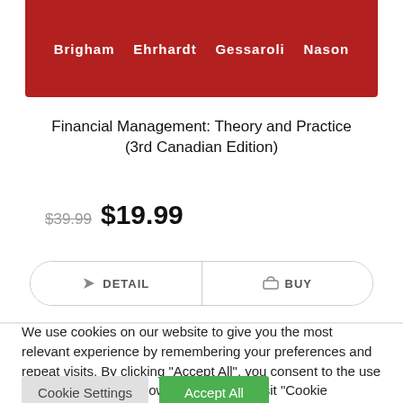[Figure (illustration): Red book cover showing author names: Brigham, Ehrhardt, Gessaroli, Nason in white bold text]
Financial Management: Theory and Practice (3rd Canadian Edition)
$39.99 $19.99
DETAIL   BUY
We use cookies on our website to give you the most relevant experience by remembering your preferences and repeat visits. By clicking “Accept All”, you consent to the use of ALL the cookies. However, you may visit "Cookie Settings" to provide a controlled consent.
Cookie Settings   Accept All